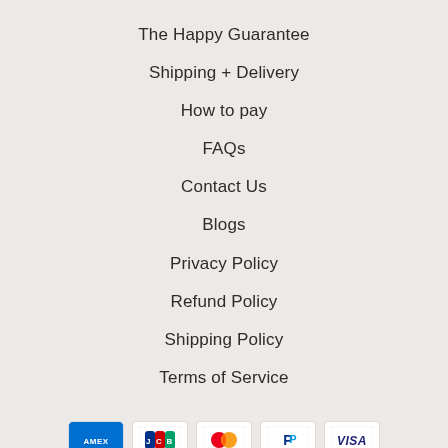The Happy Guarantee
Shipping + Delivery
How to pay
FAQs
Contact Us
Blogs
Privacy Policy
Refund Policy
Shipping Policy
Terms of Service
[Figure (logo): Payment method icons: American Express, JCB, Mastercard, PayPal, Visa]
Powered by Nature